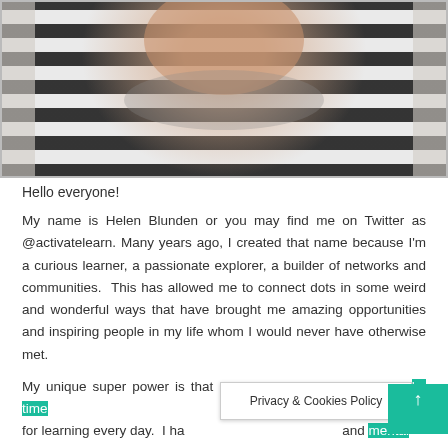[Figure (photo): Close-up photo of a person wearing a black and white horizontal striped shirt, showing neck and upper chest area]
Hello everyone!
My name is Helen Blunden or you may find me on Twitter as @activatelearn. Many years ago, I created that name because I'm a curious learner, a passionate explorer, a builder of networks and communities.  This has allowed me to connect dots in some weird and wonderful ways that have brought me amazing opportunities and inspiring people in my life whom I would never have otherwise met.
My unique super power is that I practice what I preach.  I make time for learning every day.  I ha[ve always valued physical and mental wellbeing to me and how it's [impacted] my personal life but